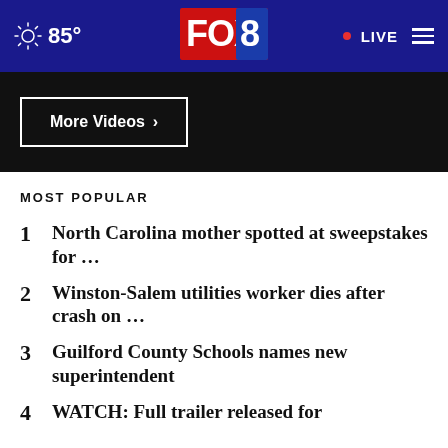85° FOX 8 LIVE
[Figure (screenshot): More Videos button on dark background]
MOST POPULAR
1 North Carolina mother spotted at sweepstakes for ...
2 Winston-Salem utilities worker dies after crash on ...
3 Guilford County Schools names new superintendent
4 WATCH: Full trailer released for ...